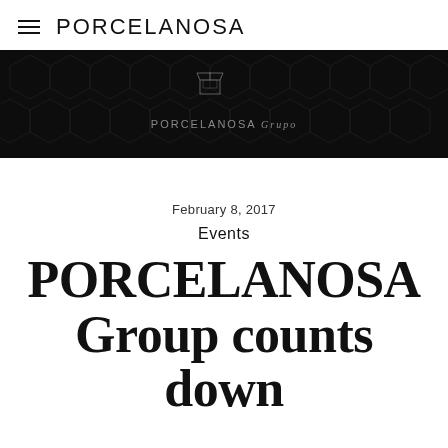≡ PORCELANOSA
[Figure (illustration): Dark banner with hexagonal pattern background and PORCELANOSA Grupo logo centered on it]
February 8, 2017
Events
PORCELANOSA Group counts down